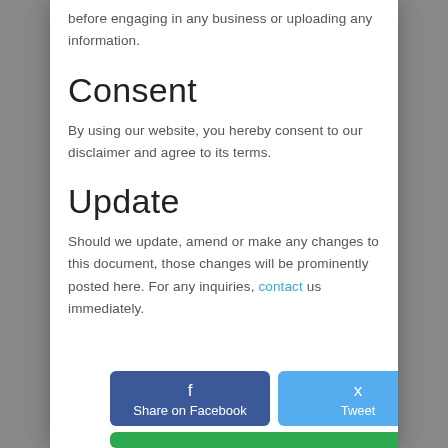before engaging in any business or uploading any information.
Consent
By using our website, you hereby consent to our disclaimer and agree to its terms.
Update
Should we update, amend or make any changes to this document, those changes will be prominently posted here. For any inquiries, contact us immediately.
[Figure (other): Share on Facebook and Tweet buttons, plus a green button row at the bottom]